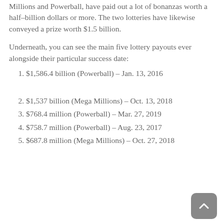Millions and Powerball, have paid out a lot of bonanzas worth a half-billion dollars or more. The two lotteries have likewise conveyed a prize worth $1.5 billion.
Underneath, you can see the main five lottery payouts ever alongside their particular success date:
1. $1,586.4 billion (Powerball) – Jan. 13, 2016
2. $1,537 billion (Mega Millions) – Oct. 13, 2018
3. $768.4 million (Powerball) – Mar. 27, 2019
4. $758.7 million (Powerball) – Aug. 23, 2017
5. $687.8 million (Mega Millions) – Oct. 27, 2018